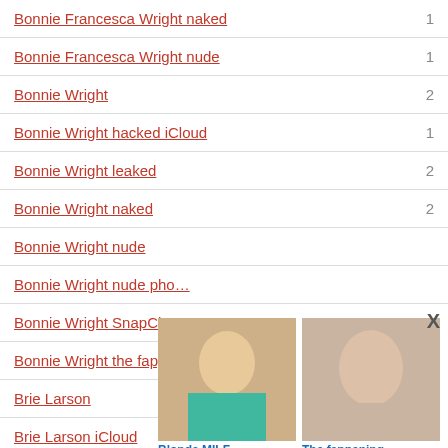Bonnie Francesca Wright naked
Bonnie Francesca Wright nude
Bonnie Wright
Bonnie Wright hacked iCloud
Bonnie Wright leaked
Bonnie Wright naked
Bonnie Wright nude
Bonnie Wright nude pho…
Bonnie Wright SnapCha…
Bonnie Wright the fappe…
Brie Larson
Brie Larson iCloud
[Figure (photo): Ad overlay showing two images: 'Blonde MILF' and 'The fappening' with close button X]